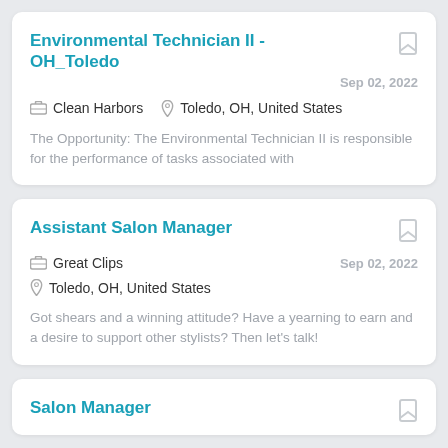Environmental Technician II - OH_Toledo | Clean Harbors | Toledo, OH, United States | Sep 02, 2022 | The Opportunity: The Environmental Technician II is responsible for the performance of tasks associated with
Assistant Salon Manager | Great Clips | Toledo, OH, United States | Sep 02, 2022 | Got shears and a winning attitude? Have a yearning to earn and a desire to support other stylists? Then let's talk!
Salon Manager